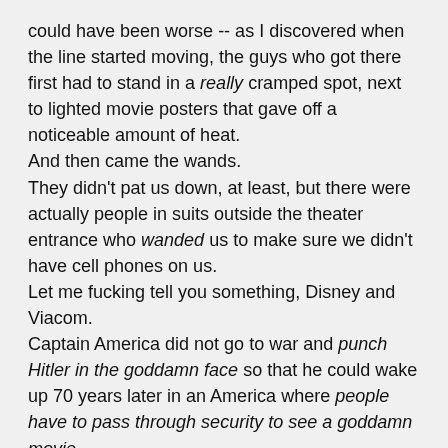could have been worse -- as I discovered when the line started moving, the guys who got there first had to stand in a really cramped spot, next to lighted movie posters that gave off a noticeable amount of heat.
And then came the wands.
They didn't pat us down, at least, but there were actually people in suits outside the theater entrance who wanded us to make sure we didn't have cell phones on us.
Let me fucking tell you something, Disney and Viacom.
Captain America did not go to war and punch Hitler in the goddamn face so that he could wake up 70 years later in an America where people have to pass through security to see a goddamn movie.
All so that somebody wouldn't record a 3D movie with their